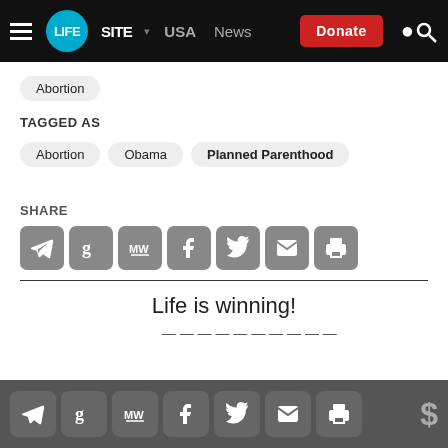LifeSite — USA | News | Donate
Abortion
TAGGED AS
Abortion
Obama
Planned Parenthood
SHARE
[Figure (infographic): Share icons: Telegram, Gettr, MeWe, Facebook, Twitter, Email, Print]
Life is winning!
(partial text, cut off at bottom)
Bottom share bar with icons and dollar sign